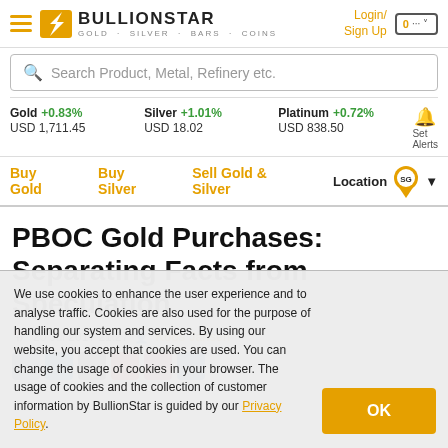BullionStar — Gold · Silver · Bars · Coins | Login / Sign Up
Search Product, Metal, Refinery etc.
Gold +0.83% USD 1,711.45 | Silver +1.01% USD 18.02 | Platinum +0.72% USD 838.50 | Set Alerts
Buy Gold | Buy Silver | Sell Gold & Silver | Location SG
PBOC Gold Purchases: Separating Facts from Speculation
20 Jul 2017 21:27 Koos Jansen
We use cookies to enhance the user experience and to analyse traffic. Cookies are also used for the purpose of handling our system and services. By using our website, you accept that cookies are used. You can change the usage of cookies in your browser. The usage of cookies and the collection of customer information by BullionStar is guided by our Privacy Policy.